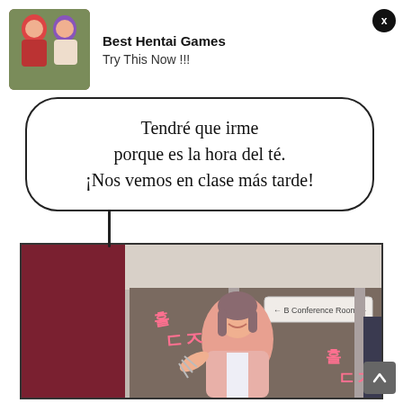[Figure (illustration): Ad banner with anime-style illustration showing two female characters, one with red hair and one with purple hair]
Best Hentai Games
Try This Now !!!
Tendré que irme porque es la hora del té. ¡Nos vemos en clase más tarde!
[Figure (illustration): Manga panel showing a woman with brown hair in a pink blazer smiling and waving, with Korean sound effect text and a Conference Room sign in the background]